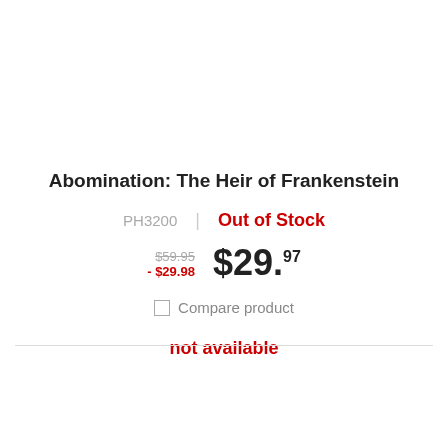Abomination: The Heir of Frankenstein
PH3200 | Out of Stock
$59.95 - $29.98 $29.97
Compare product
not available